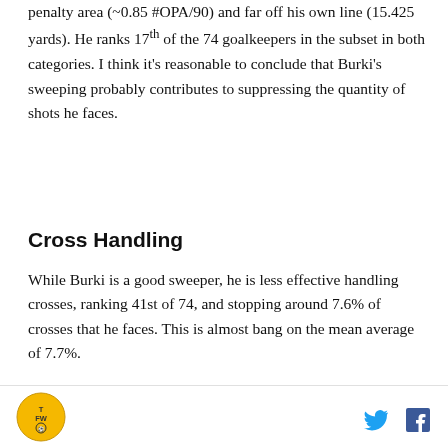penalty area (~0.85 #OPA/90) and far off his own line (15.425 yards). He ranks 17th of the 74 goalkeepers in the subset in both categories. I think it's reasonable to conclude that Burki's sweeping probably contributes to suppressing the quantity of shots he faces.
Cross Handling
While Burki is a good sweeper, he is less effective handling crosses, ranking 41st of 74, and stopping around 7.6% of crosses that he faces. This is almost bang on the mean average of 7.7%.
[Figure (bar-chart): % of Crosses into the Penalty Area Successfully Stopped by Goalkeeper 2017/18 - 2020/21 | Minimum 6000 Mins. Horizontal bar chart showing Nick Pope, Lukasz Skorupski, Mike Maignan as top performers.]
TFW logo, Twitter icon, Facebook icon